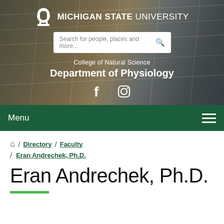[Figure (screenshot): Michigan State University website header with Spartan helmet logo, search bar, College of Natural Science Department of Physiology title, and social media icons over a blurred building background]
Michigan State University — College of Natural Science — Department of Physiology
Menu
Home / Directory / Faculty / Eran Andrechek, Ph.D.
Eran Andrechek, Ph.D.